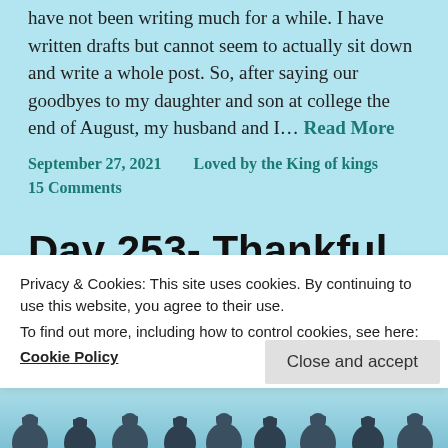have not been writing much for a while. I have written drafts but cannot seem to actually sit down and write a whole post. So, after saying our goodbyes to my daughter and son at college the end of August, my husband and I… Read More
September 27, 2021    Loved by the King of kings
15 Comments
Day 253- Thankful my daughter graduated high school
Privacy & Cookies: This site uses cookies. By continuing to use this website, you agree to their use.
To find out more, including how to control cookies, see here:
Cookie Policy
Close and accept
[Figure (photo): Graduation photo showing group of people in caps and gowns with arms raised]